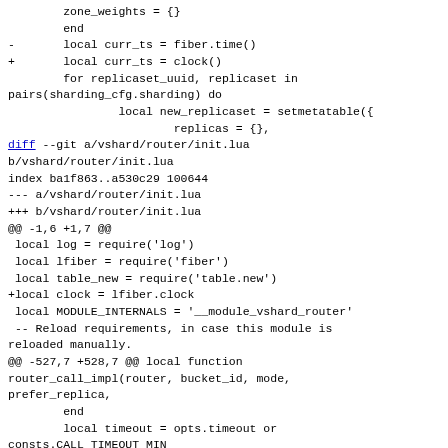zone_weights = {}
        end
-       local curr_ts = fiber.time()
+       local curr_ts = clock()
        for replicaset_uuid, replicaset in pairs(sharding_cfg.sharding) do
                local new_replicaset = setmetatable({
                        replicas = {},
diff --git a/vshard/router/init.lua b/vshard/router/init.lua
index ba1f863..a530c29 100644
--- a/vshard/router/init.lua
+++ b/vshard/router/init.lua
@@ -1,6 +1,7 @@
 local log = require('log')
 local lfiber = require('fiber')
 local table_new = require('table.new')
+local clock = lfiber.clock

 local MODULE_INTERNALS = '__module_vshard_router'
 -- Reload requirements, in case this module is reloaded manually.
@@ -527,7 +528,7 @@ local function router_call_impl(router, bucket_id, mode, prefer_replica,
        end
        local timeout = opts.timeout or consts.CALL_TIMEOUT_MIN
        local replicaset, err
-       local tend = lfiber.time() + timeout
+       local tend = clock() + timeout